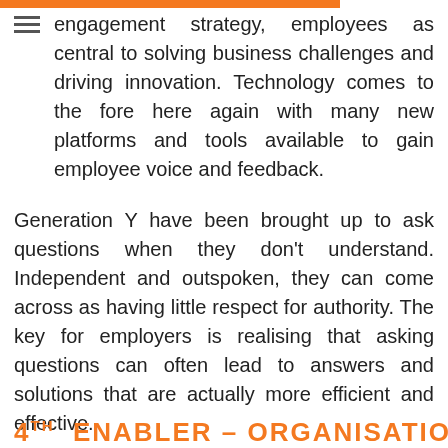engagement strategy, employees as central to solving business challenges and driving innovation. Technology comes to the fore here again with many new platforms and tools available to gain employee voice and feedback.
Generation Y have been brought up to ask questions when they don't understand. Independent and outspoken, they can come across as having little respect for authority. The key for employers is realising that asking questions can often lead to answers and solutions that are actually more efficient and effective.
4TH ENABLER – ORGANISATIONAL